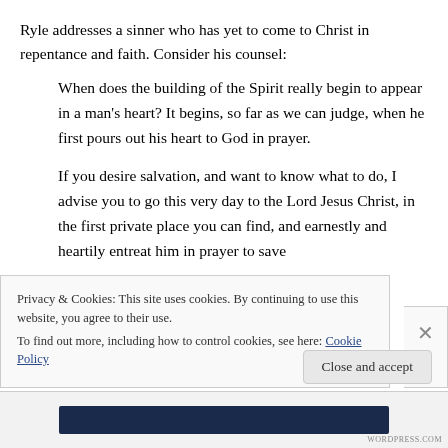Ryle addresses a sinner who has yet to come to Christ in repentance and faith. Consider his counsel:
When does the building of the Spirit really begin to appear in a man’s heart? It begins, so far as we can judge, when he first pours out his heart to God in prayer.
If you desire salvation, and want to know what to do, I advise you to go this very day to the Lord Jesus Christ, in the first private place you can find, and earnestly and heartily entreat him in prayer to save
Privacy & Cookies: This site uses cookies. By continuing to use this website, you agree to their use.
To find out more, including how to control cookies, see here: Cookie Policy
Close and accept